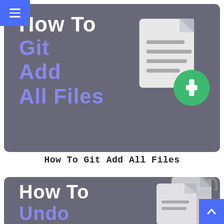[Figure (illustration): Navigation hamburger menu icon on blue background, top-left corner]
[Figure (illustration): Tutorial card with dark gray background showing 'How To Git Add All Files' text in white and purple, with a document icon with green plus button on the right]
How To Git Add All Files
[Figure (illustration): Tutorial card with dark gray background showing 'How To Undo' text in white and purple, with document icons on the right]
[Figure (illustration): Back to top button, blue square with white upward chevron, bottom-right corner]